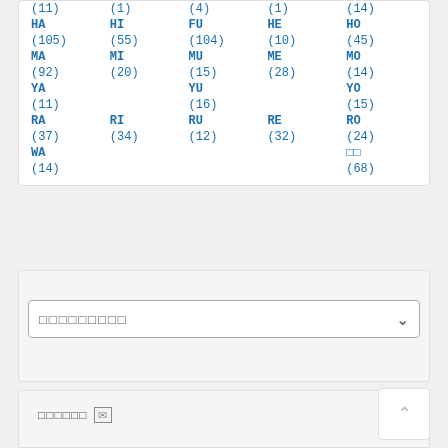| col1 | col2 | col3 | col4 | col5 |
| --- | --- | --- | --- | --- |
| (11) | (1) | (4) | (1) | (14) |
| HA | HI | FU | HE | HO |
| (105) | (55) | (104) | (10) | (45) |
| MA | MI | MU | ME | MO |
| (92) | (20) | (15) | (28) | (14) |
| YA |  | YU |  | YO |
| (11) |  | (16) |  | (15) |
| RA | RI | RU | RE | RO |
| (37) | (34) | (12) | (32) | (24) |
| WA |  |  |  | □□ |
| (14) |  |  |  | (68) |
□□□□□□□□□
□□□□□□ ✉